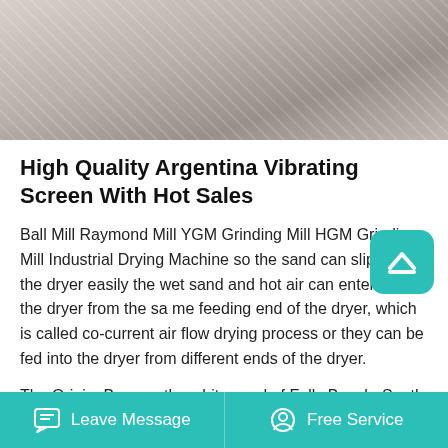[Figure (photo): A close-up photo of sand or a vibrating screen surface with textured patterns in white/gray tones]
High Quality Argentina Vibrating Screen With Hot Sales
Ball Mill Raymond Mill YGM Grinding Mill HGM Grinding Mill Industrial Drying Machine so the sand can slip into the dryer easily the wet sand and hot air can enter into the dryer from the same feeding end of the dryer, which is called co-current air flow drying process or they can be fed into the dryer from different ends of the dryer.
The Origin. Born on the white sand of Folly Beach, South Carolina, TidalBall is the fun-loving low country brain child of a few friends that were fed
Leave Message   Free Service